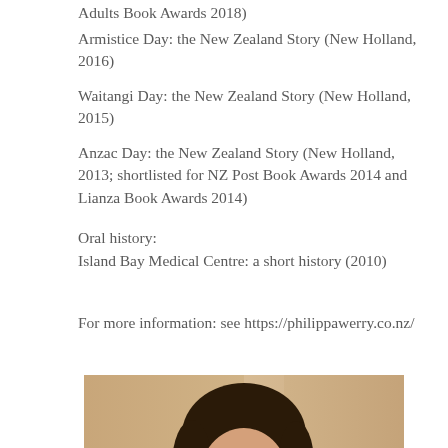Adults Book Awards 2018)
Armistice Day: the New Zealand Story (New Holland, 2016)
Waitangi Day: the New Zealand Story (New Holland, 2015)
Anzac Day: the New Zealand Story (New Holland, 2013; shortlisted for NZ Post Book Awards 2014 and Lianza Book Awards 2014)
Oral history:
Island Bay Medical Centre: a short history (2010)
For more information: see https://philippawerry.co.nz/
[Figure (photo): Portrait photo of a woman with dark brown hair and glasses, photographed against a warm beige/cream background. The image is cropped to show approximately head and upper shoulders.]